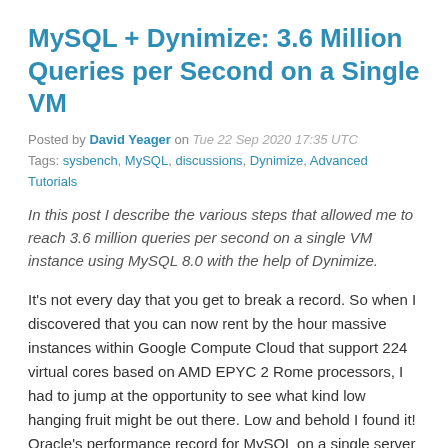MySQL + Dynimize: 3.6 Million Queries per Second on a Single VM
Posted by David Yeager on Tue 22 Sep 2020 17:35 UTC
Tags: sysbench, MySQL, discussions, Dynimize, Advanced Tutorials
In this post I describe the various steps that allowed me to reach 3.6 million queries per second on a single VM instance using MySQL 8.0 with the help of Dynimize.
It's not every day that you get to break a record. So when I discovered that you can now rent by the hour massive instances within Google Compute Cloud that support 224 virtual cores based on AMD EPYC 2 Rome processors, I had to jump at the opportunity to see what kind low hanging fruit might be out there. Low and behold I found it! Oracle's performance record for MySQL on a single server stands at 2.1M QPS without